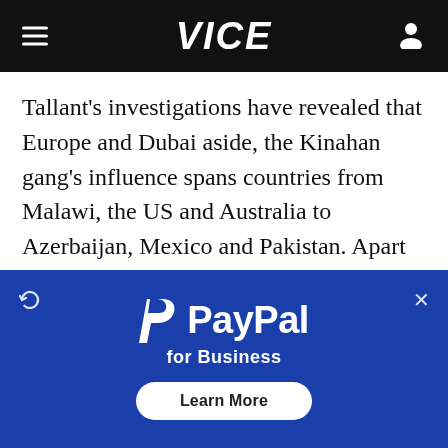VICE
Tallant’s investigations have revealed that Europe and Dubai aside, the Kinahan gang’s influence spans countries from Malawi, the US and Australia to Azerbaijan, Mexico and Pakistan. Apart from boxing, the gang also has financial interests in aviation, cryptocurrency, renewable energy and property.
“The police have effectively shut down the
[Figure (other): PayPal for Business advertisement overlay with blue background, PayPal P logo, PayPal wordmark, tagline 'for Business', and 'Learn More' button]